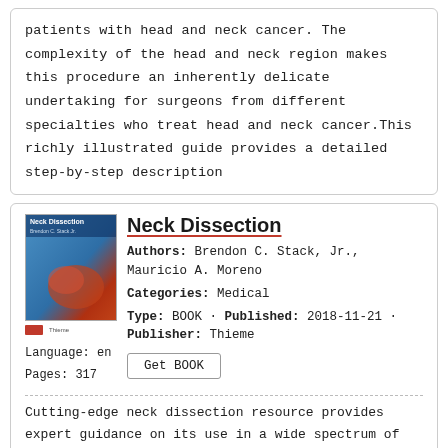patients with head and neck cancer. The complexity of the head and neck region makes this procedure an inherently delicate undertaking for surgeons from different specialties who treat head and neck cancer.This richly illustrated guide provides a detailed step-by-step description
[Figure (illustration): Book cover of 'Neck Dissection' showing surgical imagery with blue and red tones]
Neck Dissection
Authors: Brendon C. Stack, Jr., Mauricio A. Moreno
Categories: Medical
Type: BOOK · Published: 2018-11-21 · Publisher: Thieme
Language: en
Pages: 317
Cutting-edge neck dissection resource provides expert guidance on its use in a wide spectrum of head and neck pathologies Dissection of critical structures of the neck is integral to head and neck surgery, for both benign and malignant neck masses